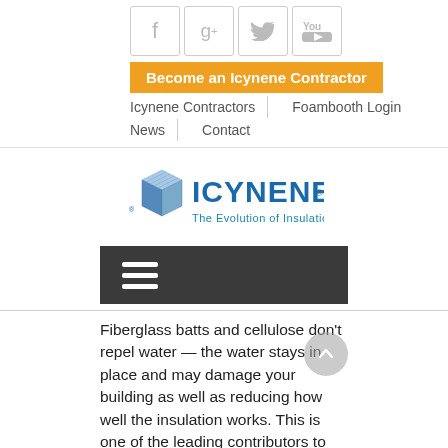[Figure (screenshot): Social media icons: Facebook, Google+, Twitter, YouTube]
Become an Icynene Contractor
Icynene Contractors | Foambooth Login
News | Contact
[Figure (logo): Icynene logo — The Evolution of Insulation]
[Figure (other): Dark navigation menu bar with hamburger icon]
Fiberglass batts and cellulose don't repel water — the water stays in place and may damage your building as well as reducing how well the insulation works. This is one of the leading contributors to mold development — and it also decreases R-values, meaning you spend more on energy.